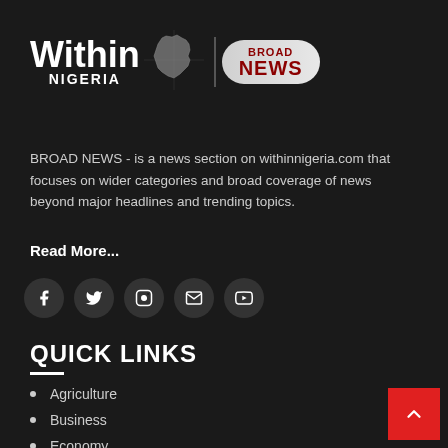[Figure (logo): Within Nigeria Broad News logo — white bold text 'Within' with 'NIGERIA' below, a map outline of Nigeria, a vertical divider, and a pill-shaped badge with 'BROAD NEWS' in dark red]
BROAD NEWS - is a news section on withinnigeria.com that focuses on wider categories and broad coverage of news beyond major headlines and trending topics.
Read More...
[Figure (other): Row of 5 social media icons (Facebook, Twitter, Instagram, Email, YouTube) in dark circular buttons]
QUICK LINKS
Agriculture
Business
Economy